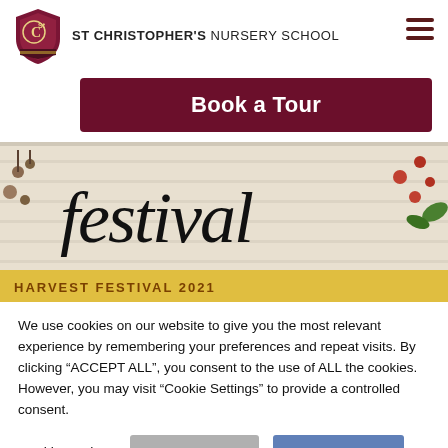ST CHRISTOPHER'S NURSERY SCHOOL
Book a Tour
[Figure (photo): Harvest festival decorative image with cursive 'festival' text, autumn berries and leaves, with yellow band at bottom reading HARVEST FESTIVAL 2021]
We use cookies on our website to give you the most relevant experience by remembering your preferences and repeat visits. By clicking “ACCEPT ALL”, you consent to the use of ALL the cookies. However, you may visit “Cookie Settings” to provide a controlled consent.
Cookie Settings   REJECT ALL   ACCEPT ALL